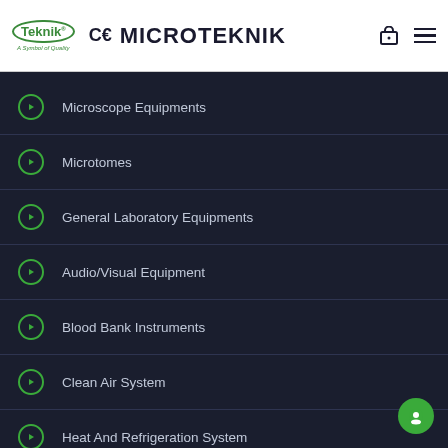CE MICROTEKNIK — A Symbol of Quality
Microscope Equipments
Microtomes
General Laboratory Equipments
Audio/Visual Equipment
Blood Bank Instruments
Clean Air System
Heat And Refrigeration System